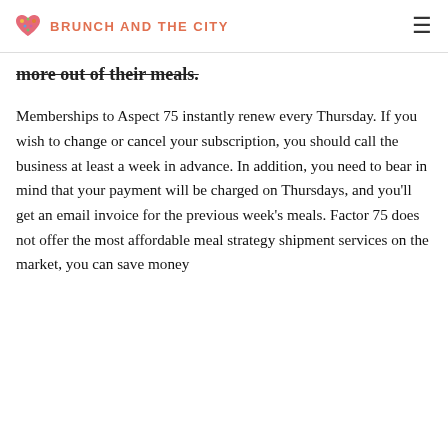BRUNCH AND THE CITY
more out of their meals.
Memberships to Aspect 75 instantly renew every Thursday. If you wish to change or cancel your subscription, you should call the business at least a week in advance. In addition, you need to bear in mind that your payment will be charged on Thursdays, and you'll get an email invoice for the previous week's meals. Factor 75 does not offer the most affordable meal strategy shipment services on the market, you can save money